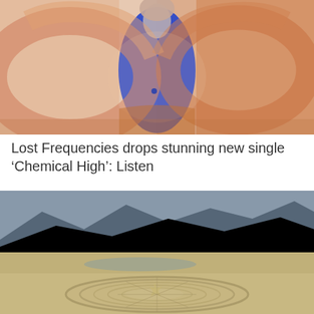[Figure (photo): A person wearing a blue jacket with motion-blurred arms creating a circular arc around them, against a peach/orange background]
Lost Frequencies drops stunning new single ‘Chemical High’: Listen
[Figure (photo): Aerial photograph of Burning Man festival in a desert landscape showing circular camp layout with mountains in the background]